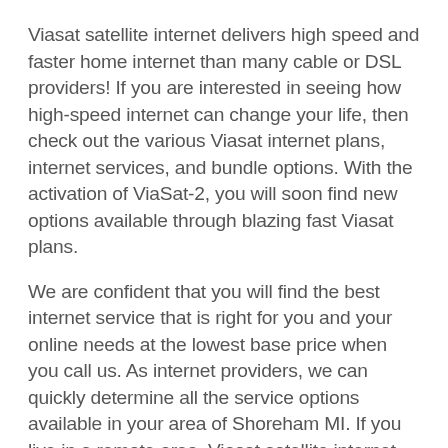Viasat satellite internet delivers high speed and faster home internet than many cable or DSL providers! If you are interested in seeing how high-speed internet can change your life, then check out the various Viasat internet plans, internet services, and bundle options. With the activation of ViaSat-2, you will soon find new options available through blazing fast Viasat plans.
We are confident that you will find the best internet service that is right for you and your online needs at the lowest base price when you call us. As internet providers, we can quickly determine all the service options available in your area of Shoreham MI. If you live in a remote area, Viasat satellite internet offers availability second to none. In addition to delivering high internet speeds and data at an affordable and predictable price, Viasat offers packages that bundle TV, internet and phone for extra savings.
Viasat satellite internet offers businesses in rural areas the fastest and information that you can since almost...